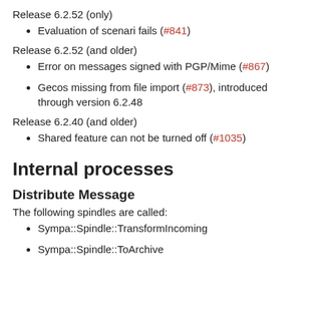Release 6.2.52 (only)
Evaluation of scenari fails (#841)
Release 6.2.52 (and older)
Error on messages signed with PGP/Mime (#867)
Gecos missing from file import (#873), introduced through version 6.2.48
Release 6.2.40 (and older)
Shared feature can not be turned off (#1035)
Internal processes
Distribute Message
The following spindles are called:
Sympa::Spindle::TransformIncoming
Sympa::Spindle::ToArchive